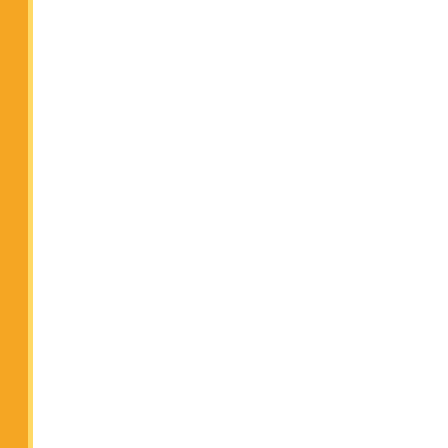| # | Date | Title |
| --- | --- | --- |
| 690. | 04/08/2016 | Answer Key |
| 691. | 04/08/2016 | Question Bo... Business Ma... Education, L... |
| 692. | 04/08/2016 | Question Bo... |
| 693. | 04/08/2016 | Question Bo... |
| 694. | 04/08/2016 | Question Bo... Engineering)... |
| 695. | 03/08/2016 | Re-Examina... Courses) Jo... |
| 696. | 03/08/2016 | Re-Examina... Journalism-A... |
| 697. | 03/08/2016 | WITHDRAW... LL.M.-2nd S... |
| 698. | 02/08/2016 | Re-Examina... Family Law (... |
| 699. | 27/07/2016 | Paragraph 9... SYNDICATE... |
| 700. | 26/07/2016 | RE-EXAMIN... Special-clas... |